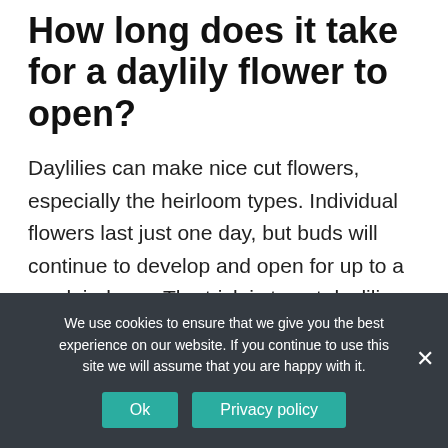How long does it take for a daylily flower to open?
Daylilies can make nice cut flowers, especially the heirloom types. Individual flowers last just one day, but buds will continue to develop and open for up to a week indoors. The trick is to cut daylilies with buds that are just about to open, with a bit of the flower color showing. The higher up buds will open as the bottom ones fade.
We use cookies to ensure that we give you the best experience on our website. If you continue to use this site we will assume that you are happy with it.